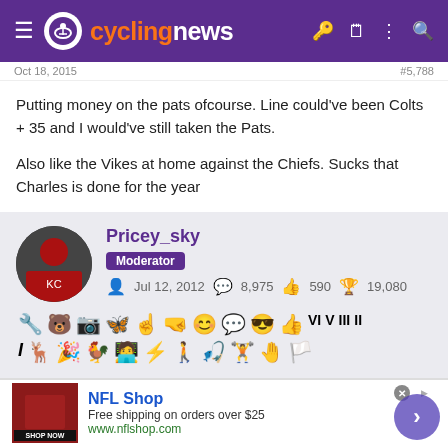cyclingnews
Oct 18, 2015 | #5,788
Putting money on the pats ofcourse. Line could've been Colts + 35 and I would've still taken the Pats.
Also like the Vikes at home against the Chiefs. Sucks that Charles is done for the year
Pricey_sky
Moderator
Jul 12, 2012 | 8,975 | 590 | 19,080
[Figure (screenshot): NFL Shop advertisement banner with shop now button]
NFL Shop
Free shipping on orders over $25
www.nflshop.com